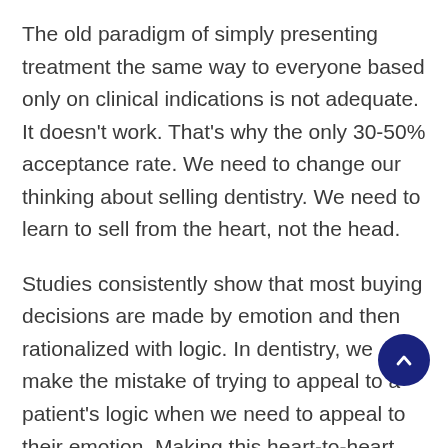The old paradigm of simply presenting treatment the same way to everyone based only on clinical indications is not adequate. It doesn't work. That's why the only 30-50% acceptance rate. We need to change our thinking about selling dentistry. We need to learn to sell from the heart, not the head.
Studies consistently show that most buying decisions are made by emotion and then rationalized with logic. In dentistry, we make the mistake of trying to appeal to a patient's logic when we need to appeal to their emotion. Making this heart-to-heart connection is what allows us to appeal to a patient's emotional needs. This is what gets missed so often. This is the key facilitating element so that we appeal to